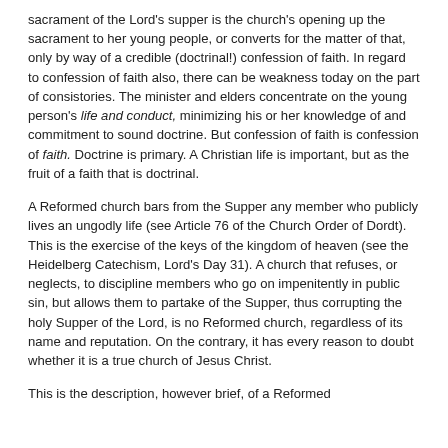sacrament of the Lord's supper is the church's opening up the sacrament to her young people, or converts for the matter of that, only by way of a credible (doctrinal!) confession of faith. In regard to confession of faith also, there can be weakness today on the part of consistories. The minister and elders concentrate on the young person's life and conduct, minimizing his or her knowledge of and commitment to sound doctrine. But confession of faith is confession of faith. Doctrine is primary. A Christian life is important, but as the fruit of a faith that is doctrinal.
A Reformed church bars from the Supper any member who publicly lives an ungodly life (see Article 76 of the Church Order of Dordt). This is the exercise of the keys of the kingdom of heaven (see the Heidelberg Catechism, Lord's Day 31). A church that refuses, or neglects, to discipline members who go on impenitently in public sin, but allows them to partake of the Supper, thus corrupting the holy Supper of the Lord, is no Reformed church, regardless of its name and reputation. On the contrary, it has every reason to doubt whether it is a true church of Jesus Christ.
This is the description, however brief, of a Reformed